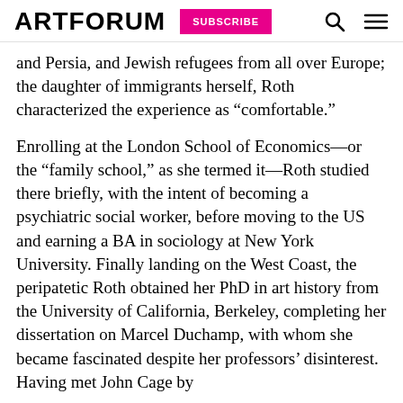ARTFORUM SUBSCRIBE
and Persia, and Jewish refugees from all over Europe; the daughter of immigrants herself, Roth characterized the experience as “comfortable.”
Enrolling at the London School of Economics—or the “family school,” as she termed it—Roth studied there briefly, with the intent of becoming a psychiatric social worker, before moving to the US and earning a BA in sociology at New York University. Finally landing on the West Coast, the peripatetic Roth obtained her PhD in art history from the University of California, Berkeley, completing her dissertation on Marcel Duchamp, with whom she became fascinated despite her professors’ disinterest. Having met John Cage by